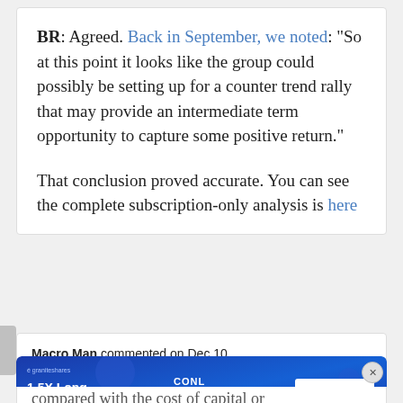BR: Agreed. Back in September, we noted: "So at this point it looks like the group could possibly be setting up for a counter trend rally that may provide an intermediate term opportunity to capture some positive return."

That conclusion proved accurate. You can see the complete subscription-only analysis is here
Macro Man commented on Dec 10
[Figure (other): Advertisement banner for GraniteShares CONL 1.5X Long COIN Daily ETF with Coinbase logo and Learn More button]
compared with the cost of capital or